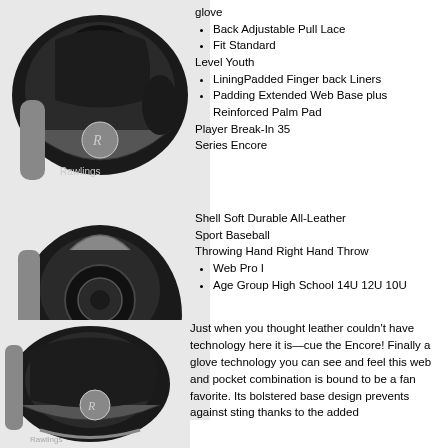[Figure (photo): Black and grey Rawlings baseball glove, top-back view]
Back Adjustable Pull Lace
Fit Standard
Level Youth
LiningPadded Finger back Liners
Padding Extended Web Base plus Reinforced Palm Pad
Player Break-In 35
Series Encore
[Figure (photo): Black and grey Rawlings baseball glove, side/palm view]
Shell Soft Durable All-Leather
Sport Baseball
Throwing Hand Right Hand Throw
Web Pro I
Age Group High School 14U 12U 10U
[Figure (photo): Black and grey Rawlings baseball glove, front pocket view]
Just when you thought leather couldn't have technology here it is—cue the Encore! Finally a glove technology you can see and feel this web and pocket combination is bound to be a fan favorite. Its bolstered base design prevents against sting thanks to the added